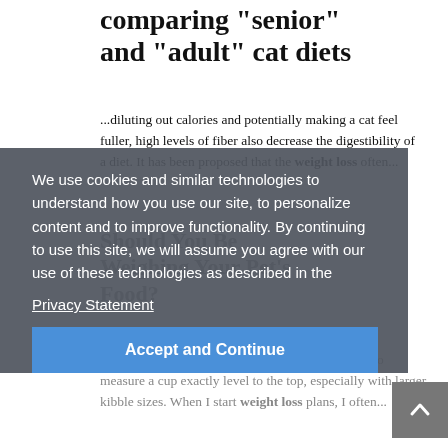comparing "senior" and "adult" cat diets
...diluting out calories and potentially making a cat feel fuller, high levels of fiber also decrease the digestibility of a diet. It has been proposed that the weight loss often...
Should You Be Weighing Your Pet's Food?
...under or overfeeding since it can be challenging to measure a cup exactly level to the top, especially with larger kibble sizes. When I start weight loss plans, I often...
We use cookies and similar technologies to understand how you use our site, to personalize content and to improve functionality. By continuing to use this site, we will assume you agree with our use of these technologies as described in the
Privacy Statement
Accept and Continue